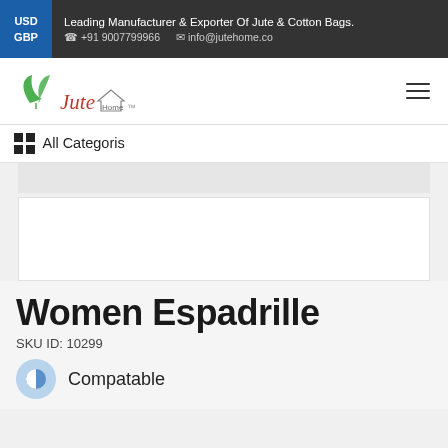USD GBP | Leading Manufacturer & Exporter Of Jute & Cotton Bags. | +91 9007799966 | info@jutehome.co
[Figure (logo): Jute Home logo with green leaf and stylized red italic text]
All Categoris
[Figure (photo): Product image area (blank/loading)]
Women Espadrille
SKU ID: 10299
Compatable